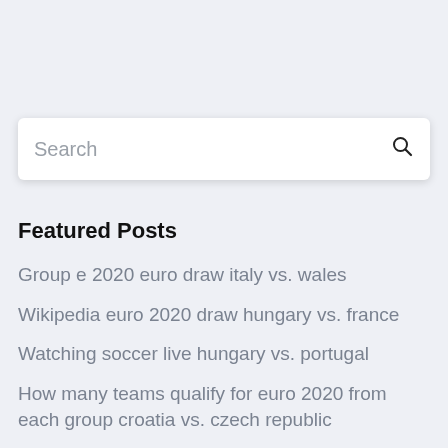[Figure (other): Search bar with placeholder text 'Search' and a search icon on the right]
Featured Posts
Group e 2020 euro draw italy vs. wales
Wikipedia euro 2020 draw hungary vs. france
Watching soccer live hungary vs. portugal
How many teams qualify for euro 2020 from each group croatia vs. czech republic
Eu suspending switzerland from horizon 2020 euro